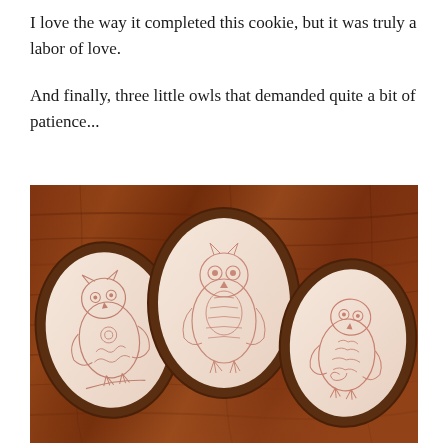I love the way it completed this cookie, but it was truly a labor of love.
And finally, three little owls that demanded quite a bit of patience...
[Figure (photo): Three oval chocolate cookies decorated with white royal icing and pink/rose-gold painted owl designs, arranged on a warm wooden surface. The center cookie shows a full owl, the left cookie shows an owl with floral details, and the right cookie shows an owl with scale/feather patterns.]